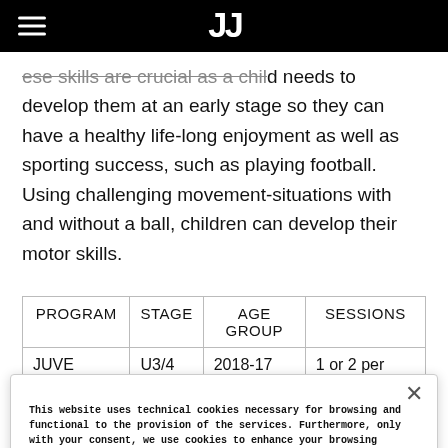Juventus Academy page header with hamburger menu and Juventus logo
These skills are crucial as a child needs to develop them at an early stage so they can have a healthy life-long enjoyment as well as sporting success, such as playing football. Using challenging movement-situations with and without a ball, children can develop their motor skills.
| PROGRAM | STAGE | AGE GROUP | SESSIONS |
| --- | --- | --- | --- |
| JUVE MINIS | U3/4 | 2018-17 | 1 or 2 per week |
This website uses technical cookies necessary for browsing and functional to the provision of the services. Furthermore, only with your consent, we use cookies to enhance your browsing experience, to facilitate interactions with our social features and to featuring personalized ads in line with your browsing habits and interests. Closing this banner by selecting the X at the top right, involves the permanence of the default settings and therefore the continuation of browsing in the absence of cookies (or other tracking tools) other than technical cookies. For more information on cookies